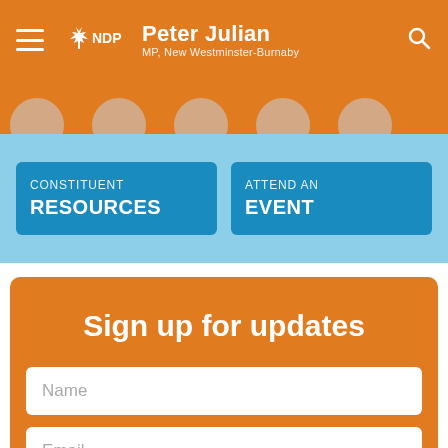NDP — Peter Julian, MP, New Westminster-Burnaby
[Figure (screenshot): Navigation circles strip partial view]
CONSTITUENT RESOURCES
ATTEND AN EVENT
Sign up for updates
Name
Email